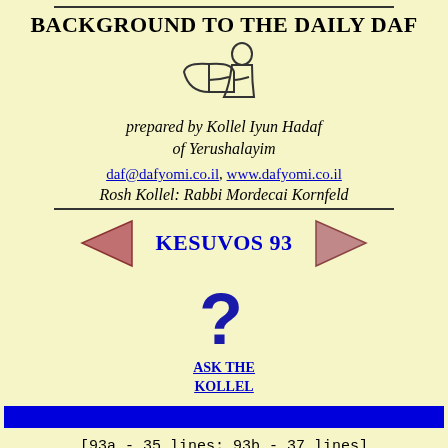BACKGROUND TO THE DAILY DAF
[Figure (illustration): Simple line drawing of a person reading a book, stylized icon]
prepared by Kollel Iyun Hadaf of Yerushalayim
daf@dafyomi.co.il, www.dafyomi.co.il
Rosh Kollel: Rabbi Mordecai Kornfeld
KESUVOS 93
[Figure (illustration): Large blue question mark icon for Ask the Kollel section]
ASK THE KOLLEL
[93a - 35 lines; 93b - 37 lines]